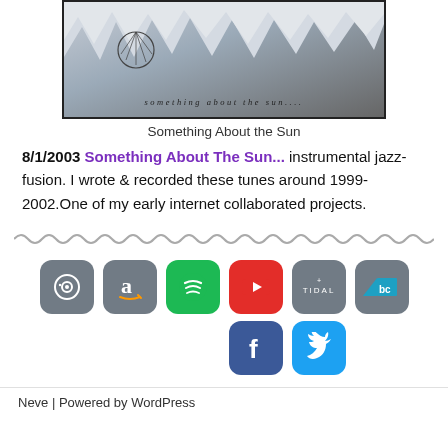[Figure (photo): Album cover for 'Something About the Sun' showing torn paper effect with dark figure and stylized text]
Something About the Sun
8/1/2003 Something About The Sun... instrumental jazz-fusion. I wrote & recorded these tunes around 1999-2002.One of my early internet collaborated projects.
[Figure (other): Wavy decorative divider line]
[Figure (infographic): Social media and music platform icon buttons: CD/music, Amazon, Spotify, YouTube, Tidal, Bandcamp, Facebook, Twitter]
Neve | Powered by WordPress